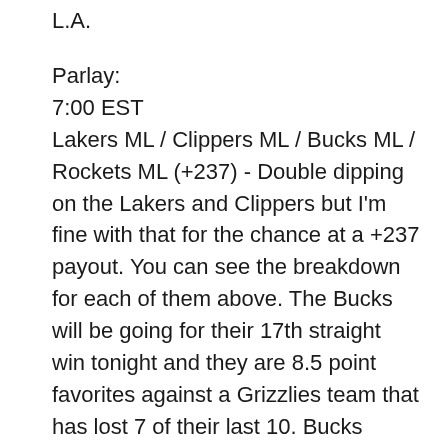L.A.
Parlay:
7:00 EST
Lakers ML / Clippers ML / Bucks ML / Rockets ML (+237) - Double dipping on the Lakers and Clippers but I'm fine with that for the chance at a +237 payout. You can see the breakdown for each of them above. The Bucks will be going for their 17th straight win tonight and they are 8.5 point favorites against a Grizzlies team that has lost 7 of their last 10. Bucks should win this game. To close it out, we have the Rockets who we can all agree have been shaky against teams that they should be winning comfortable against but here we are. They have too much firepower